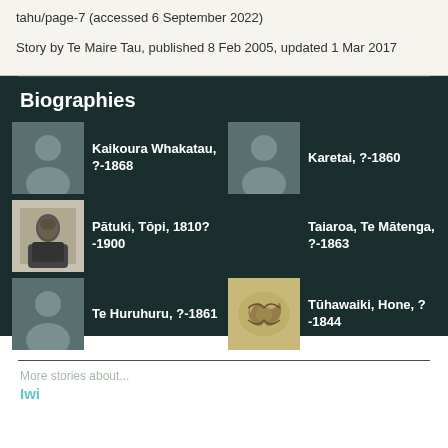tahu/page-7 (accessed 6 September 2022)
Story by Te Maire Tau, published 8 Feb 2005, updated 1 Mar 2017
Biographies
Kaikoura Whakatau, ?-1868
Karetai, ?-1860
Pātuki, Tōpi, 1810?-1900
Taiaroa, Te Mātenga, ?-1863
Te Huruhuru, ?-1861
Tūhawaiki, Hone, ?-1844
More stories about...
Iwi